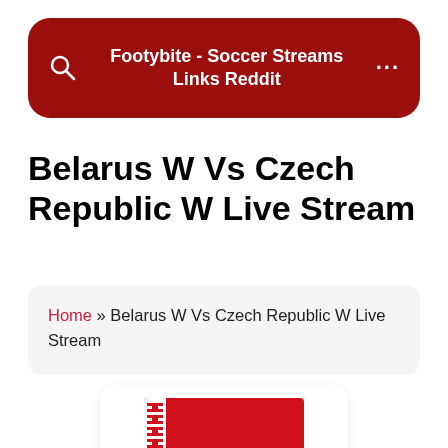Footybite - Soccer Streams Links Reddit
Belarus W Vs Czech Republic W Live Stream
Home » Belarus W Vs Czech Republic W Live Stream
[Figure (illustration): Belarus national flag showing red, white with ornamental stripe, and green horizontal bands]